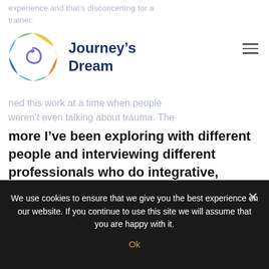experience and that's disconcerting for a trainer.
[Figure (logo): Journey's Dream circular logo with multicolored segments and a white spiral in the center]
Journey's Dream
ned this work at a time when people weren't even talking about trauma. The more I've been exploring with different people and interviewing different professionals who do integrative, functional, holistic psychiatry, therapy or medical work. I'm hearing them say that they're waking up to the realization that many of the symptom patterns they're seeing are directly related to childhood trauma and others. That's
We use cookies to ensure that we give you the best experience on our website. If you continue to use this site we will assume that you are happy with it. Ok